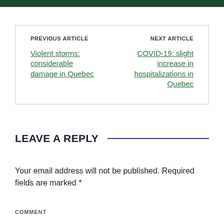PREVIOUS ARTICLE
Violent storms: considerable damage in Quebec
NEXT ARTICLE
COVID-19: slight increase in hospitalizations in Quebec
LEAVE A REPLY
Your email address will not be published. Required fields are marked *
COMMENT